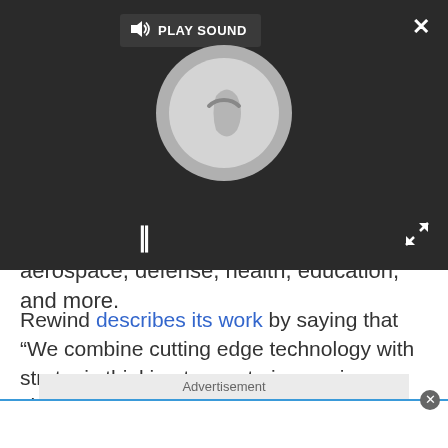[Figure (screenshot): Video player overlay with dark background showing a spinner/loading circle, pause button (II), PLAY SOUND button with speaker icon, a close X button top-right, and expand arrows bottom-right.]
aerospace, defense, health, education, and more.
Rewind describes its work by saying that “We combine cutting edge technology with strategic thinking to create immersive virtual, physical and digital narratives for your brand.” This includes virtual reality production, digital Out of Home (OOH) marketing, post production for CGI and visual effects for films, and 360-degree videos.
[Figure (screenshot): Advertisement placeholder bar with label 'Advertisement' on grey background and a white content area below with blue top border and a close circle button.]